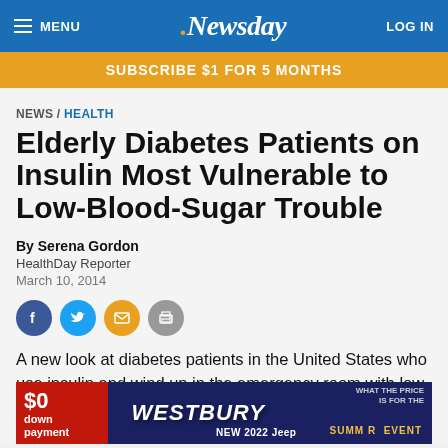MENU | Newsday | LOG IN
SUBSCRIBE $1 FOR 5 MONTHS
NEWS / HEALTH
Elderly Diabetes Patients on Insulin Most Vulnerable to Low-Blood-Sugar Trouble
By Serena Gordon
HealthDay Reporter
March 10, 2014
A new look at diabetes patients in the United States who use insulin and wind up in the emergency room with low blood sugar shows the dangerous scenario is most common in those over 80 years
[Figure (other): Westbury car dealership advertisement showing $0 down payment and New 2022 Jeep]